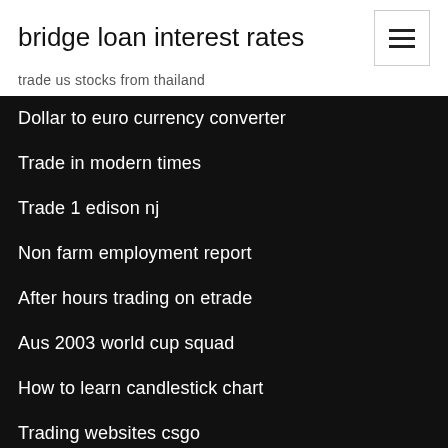bridge loan interest rates
trade us stocks from thailand
Dollar to euro currency converter
Trade in modern times
Trade 1 edison nj
Non farm employment report
After hours trading on etrade
Aus 2003 world cup squad
How to learn candlestick chart
Trading websites csgo
Tags